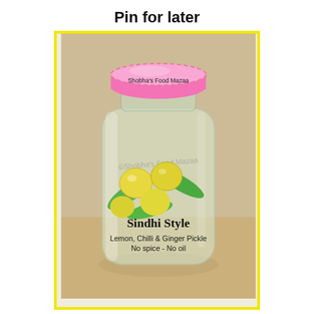Pin for later
[Figure (photo): A glass jar with a pink lid labeled 'Shobha's Food Mazaa', containing lemons, green chilies and ginger in brine. The jar label reads 'Sindhi Style Lemon, Chilli & Ginger Pickle No spice - No oil'. A watermark 'Shobha's Food Mazaa' appears on the jar body.]